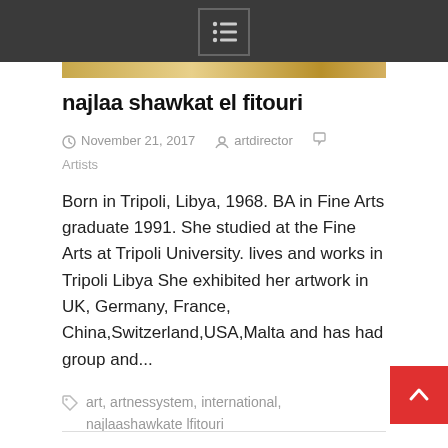menu icon / navigation bar
najlaa shawkat el fitouri
November 21, 2017  artdirector  Artists
Born in Tripoli, Libya, 1968. BA in Fine Arts graduate 1991. She studied at the Fine Arts at Tripoli University. lives and works in Tripoli Libya She exhibited her artwork in UK, Germany, France, China,Switzerland,USA,Malta and has had group and...
art, artnessystem, international, najlaashawkate lfitouri